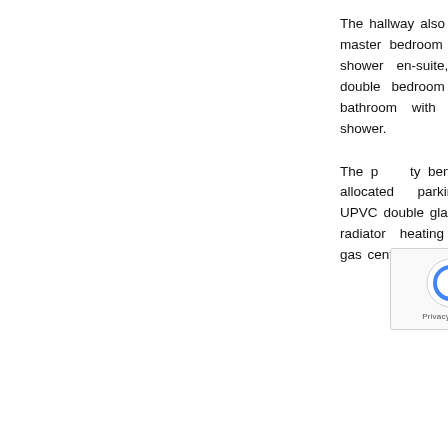The hallway also leads to the master bedroom with walk-in shower en-suite, a second double bedroom and luxury bathroom with overhanging shower.
The property benefits from a allocated parking space, UPVC double glazing, electric radiator heating (feels like gas central heating) and a